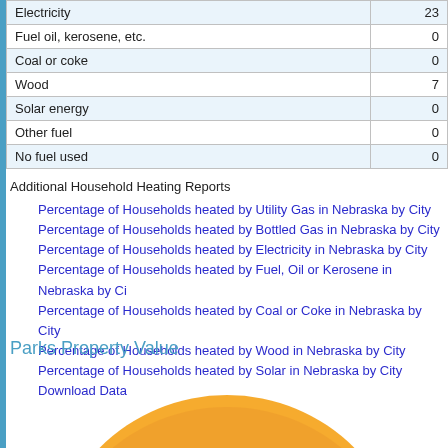|  |  |
| --- | --- |
| Electricity | 23 |
| Fuel oil, kerosene, etc. | 0 |
| Coal or coke | 0 |
| Wood | 7 |
| Solar energy | 0 |
| Other fuel | 0 |
| No fuel used | 0 |
Additional Household Heating Reports
Percentage of Households heated by Utility Gas in Nebraska by City
Percentage of Households heated by Bottled Gas in Nebraska by City
Percentage of Households heated by Electricity in Nebraska by City
Percentage of Households heated by Fuel, Oil or Kerosene in Nebraska by City
Percentage of Households heated by Coal or Coke in Nebraska by City
Percentage of Households heated by Wood in Nebraska by City
Percentage of Households heated by Solar in Nebraska by City
Download Data
Parks Property Value
[Figure (pie-chart): Partial view of a pie/donut chart showing an orange segment, bottom portion of chart visible]